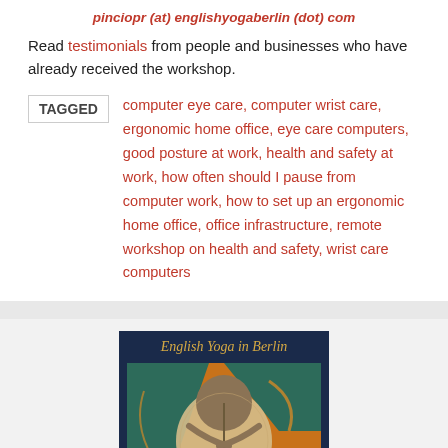pinciopr (at) englishyogaberlin (dot) com
Read testimonials from people and businesses who have already received the workshop.
TAGGED computer eye care, computer wrist care, ergonomic home office, eye care computers, good posture at work, health and safety at work, how often should I pause from computer work, how to set up an ergonomic home office, office infrastructure, remote workshop on health and safety, wrist care computers
[Figure (illustration): Book cover showing 'English Yoga in Berlin' text at top in gold italic font on dark blue background, with a painting of a yoga pose figure in earthy tones.]